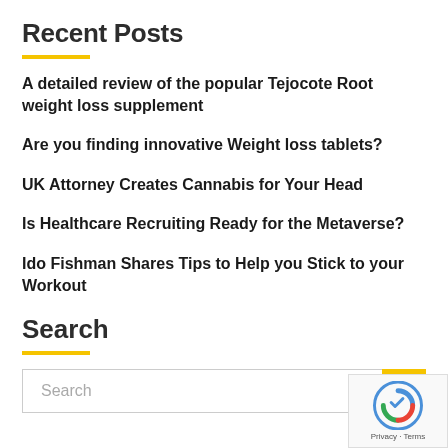Recent Posts
A detailed review of the popular Tejocote Root weight loss supplement
Are you finding innovative Weight loss tablets?
UK Attorney Creates Cannabis for Your Head
Is Healthcare Recruiting Ready for the Metaverse?
Ido Fishman Shares Tips to Help you Stick to your Workout
Search